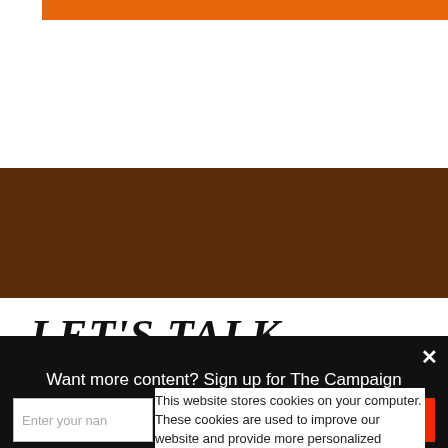[Figure (other): Orange horizontal bar at top of page]
[Figure (other): Dark brown rectangular section background]
LET'S TALK
Our team is made up of amazing creative, organizational, and political consulting talent committed to achieving
[Figure (other): Orange 'LET'S TALK' call-to-action button]
This website stores cookies on your computer. These cookies are used to improve our website and provide more personalized services to you, both on this website and through other media. To find out
Want more content? Sign up for The Campaign Workshop's blog!
Enter your name  |  Enter your email  |  Sign Up